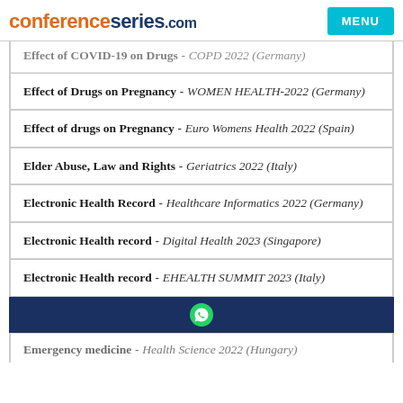conferenceseries.com  MENU
Effect of COVID 19 on drugs - COPD 2022 (Germany)
Effect of Drugs on Pregnancy - WOMEN HEALTH-2022 (Germany)
Effect of drugs on Pregnancy - Euro Womens Health 2022 (Spain)
Elder Abuse, Law and Rights - Geriatrics 2022 (Italy)
Electronic Health Record - Healthcare Informatics 2022 (Germany)
Electronic Health record - Digital Health 2023 (Singapore)
Electronic Health record - EHEALTH SUMMIT 2023 (Italy)
Emergency medicine - Health Science 2022 (Hungary)